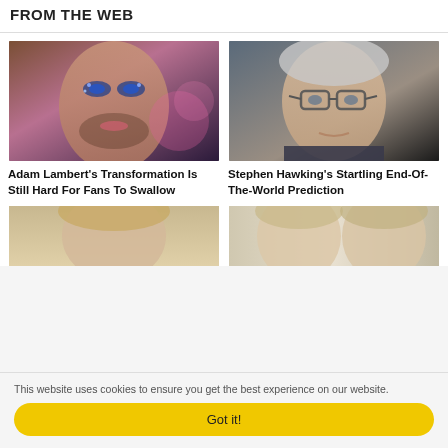FROM THE WEB
[Figure (photo): Close-up photo of Adam Lambert wearing glamorous blue glitter eye makeup]
Adam Lambert's Transformation Is Still Hard For Fans To Swallow
[Figure (photo): Close-up photo of Stephen Hawking wearing glasses]
Stephen Hawking's Startling End-Of-The-World Prediction
[Figure (photo): Partial photo of a blonde woman (bottom, cropped)]
[Figure (photo): Partial photo of two women side by side (bottom, cropped)]
This website uses cookies to ensure you get the best experience on our website.
Got it!